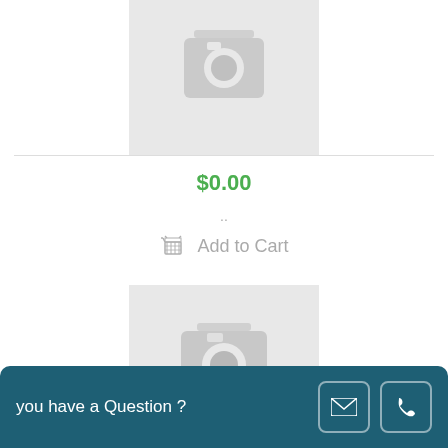[Figure (photo): Product placeholder image with camera icon, light grey background, top product card]
$0.00
..
Add to Cart
[Figure (photo): Product placeholder image with camera icon, light grey background, second product card]
$0.00
Add to Cart
you have a Question ?